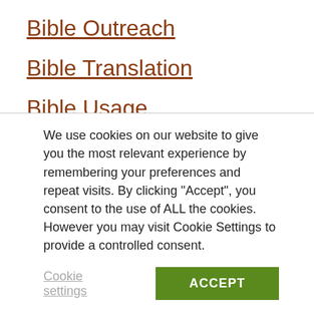Bible Outreach
Bible Translation
Bible Usage
Boys Life Application Study Bible
Christian Basics Bible
Christmas
We use cookies on our website to give you the most relevant experience by remembering your preferences and repeat visits. By clicking “Accept”, you consent to the use of ALL the cookies. However you may visit Cookie Settings to provide a controlled consent.
Cookie settings | ACCEPT